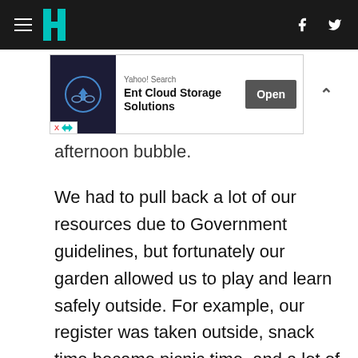HuffPost navigation header with hamburger menu, logo, Facebook and Twitter icons
[Figure (screenshot): Yahoo Search advertisement banner for 'Ent Cloud Storage Solutions' with Open button]
afternoon bubble.
We had to pull back a lot of our resources due to Government guidelines, but fortunately our garden allowed us to play and learn safely outside. For example, our register was taken outside, snack time became picnic time, and a lot of teaching sessions were held outside too. Let's just say it was a good thing summer lasted as long as it did. We even hosted a free summer school to help young children most in need who risked falling behind with their learning, made possible by the Barclays UK 100 x 100